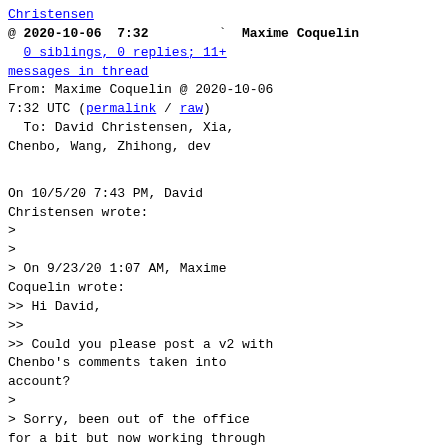Christensen
@ 2020-10-06  7:32  · Maxime Coquelin
0 siblings, 0 replies; 11+ messages in thread
From: Maxime Coquelin @ 2020-10-06 7:32 UTC (permalink / raw)
  To: David Christensen, Xia, Chenbo, Wang, Zhihong, dev
On 10/5/20 7:43 PM, David Christensen wrote:
>
>
> On 9/23/20 1:07 AM, Maxime Coquelin wrote:
>> Hi David,
>>
>> Could you please post a v2 with Chenbo's comments taken into account?
>
> Sorry, been out of the office for a bit but now working through my
> backlog. I did make the change but discovered there were additional